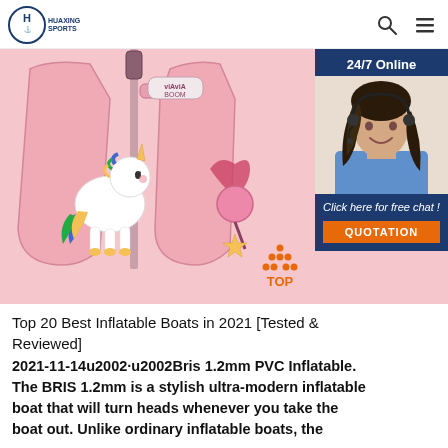HUAXING SPORTS
[Figure (photo): Pink unicorn children's swim/life vest with zipper, unicorn and heart designs. Overlaid with a customer service chat widget showing a female agent wearing headset, '24/7 Online' text, 'Click here for free chat!' and an orange QUOTATION button.]
Top 20 Best Inflatable Boats in 2021 [Tested & Reviewed]
2021-11-14u2002·u2002Bris 1.2mm PVC Inflatable. The BRIS 1.2mm is a stylish ultra-modern inflatable boat that will turn heads whenever you take the boat out. Unlike ordinary inflatable boats, the